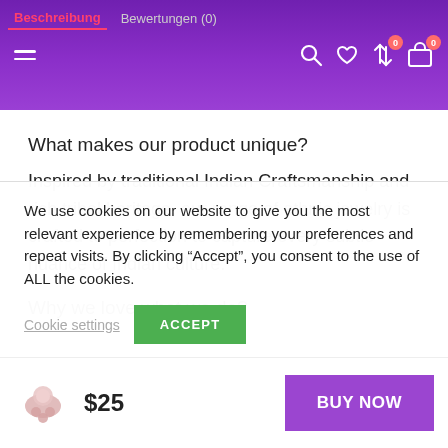Beschreibung  Bewertungen (0)
What makes our product unique?
Inspired by traditional Indian Craftsmanship and rich tribal heritage, our range of ethnic jewelry is crafted to perfection to capture every subtle nuance of Indian culture.
Why we love what we do?
We use cookies on our website to give you the most relevant experience by remembering your preferences and repeat visits. By clicking “Accept”, you consent to the use of ALL the cookies.
Cookie settings   ACCEPT
$25   BUY NOW